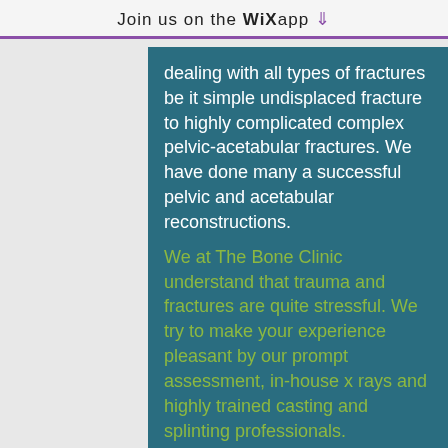Join us on the WiX app ↓
dealing with all types of fractures be it simple undisplaced fracture to highly complicated complex pelvic-acetabular fractures. We have done many a successful pelvic and acetabular reconstructions.
We at The Bone Clinic understand that trauma and fractures are quite stressful. We try to make your experience pleasant by our prompt assessment, in-house x rays and highly trained casting and splinting professionals.
Arthritis
[Figure (photo): X-ray image of a knee joint showing arthritis]